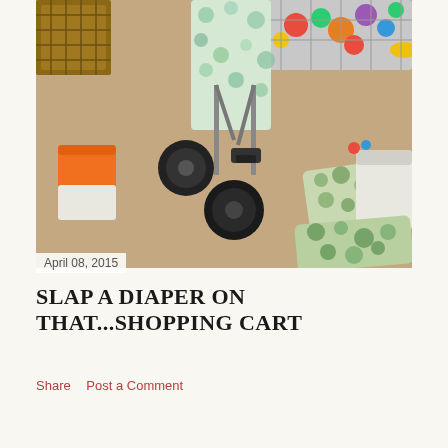[Figure (photo): Overhead view of a carpeted room floor with a toy shopping cart with colorful polka-dot fabric seat, black wheels, colorful toys in the basket, diapers/wipes packages on the right side, and an orange container on the left.]
April 08, 2015
SLAP A DIAPER ON THAT...SHOPPING CART
Share   Post a Comment